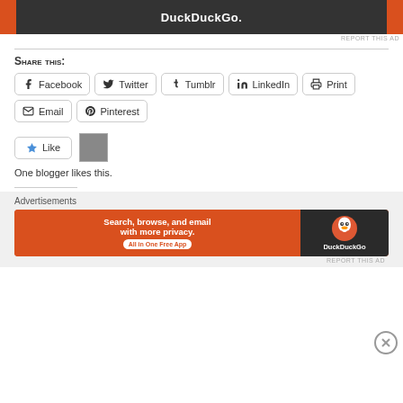[Figure (screenshot): DuckDuckGo advertisement banner at top, dark background with orange sides, white text 'DuckDuckGo.']
REPORT THIS AD
Share this:
Facebook
Twitter
Tumblr
LinkedIn
Print
Email
Pinterest
[Figure (screenshot): Like button with star icon and blogger avatar thumbnail]
One blogger likes this.
Advertisements
[Figure (screenshot): DuckDuckGo advertisement: 'Search, browse, and email with more privacy. All in One Free App' with DuckDuckGo logo on dark right panel]
REPORT THIS AD